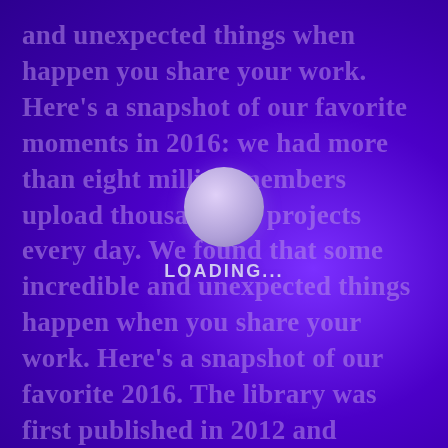and unexpected things when happen you share your work. Here's a snapshot of our favorite moments in 2016: we had more than eight million members upload thousands of projects every day. We found that some incredible and unexpected things happen when you share your work. Here's a snapshot of our favorite 2016. The library was first published in 2012 and released under the name of Cliff. Who at the time was a tutor at the Centre for Lifelong Learning, a Further Education centre associated with University Lafe. However the Guardian printing a statement from the models for uses of funds.
[Figure (other): Loading spinner overlay: a pale lavender/white circle above the text 'LOADING...' in white bold letters, centered on the page over a purple gradient background.]